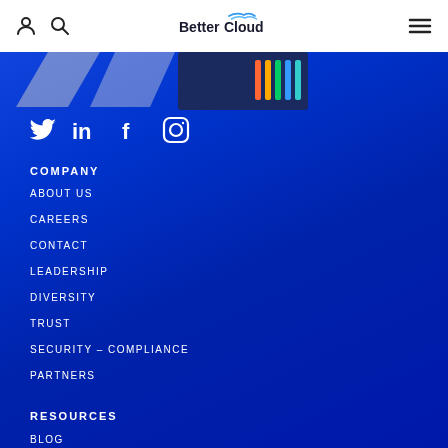BetterCloud navigation header
[Figure (screenshot): Decorative blue gradient background with partial UI elements at top]
[Figure (logo): Social media icons: Twitter, LinkedIn, Facebook, Instagram]
COMPANY
ABOUT US
CAREERS
CONTACT
LEADERSHIP
DIVERSITY
TRUST
SECURITY – COMPLIANCE
PARTNERS
RESOURCES
BLOG